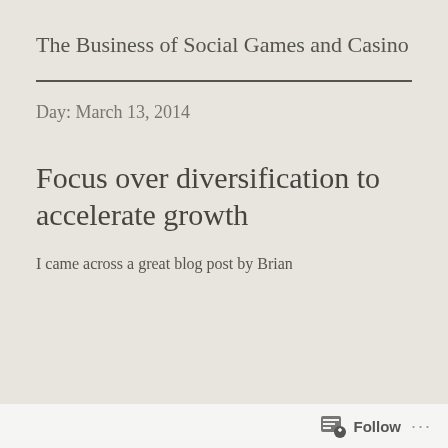The Business of Social Games and Casino
Day: March 13, 2014
Focus over diversification to accelerate growth
I came across a great blog post by Brian
Follow ...